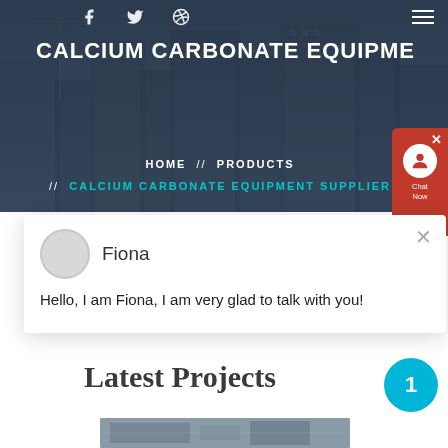[Figure (photo): Dark-tinted construction site hero image with cranes and skyscrapers in background]
CALCIUM CARBONATE EQUIPMENT SUPPLIER
HOME // PRODUCTS // CALCIUM CARBONATE EQUIPMENT SUPPLIER
[Figure (screenshot): Chat popup with avatar of Fiona saying: Hello, I am Fiona, I am very glad to talk with you!]
Latest Projects
[Figure (photo): Industrial equipment/machinery photo at bottom of page]